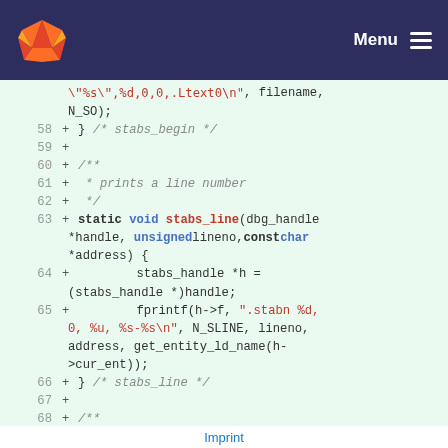GitLab logo | Menu
[Figure (screenshot): GitLab code diff view showing lines 58-68 of a C source file with stabs debugging functions]
Imprint